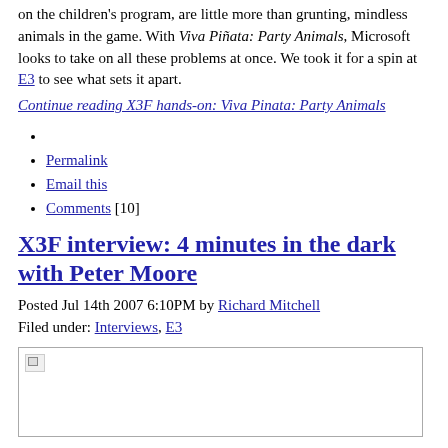on the children's program, are little more than grunting, mindless animals in the game. With Viva Piñata: Party Animals, Microsoft looks to take on all these problems at once. We took it for a spin at E3 to see what sets it apart.
Continue reading X3F hands-on: Viva Pinata: Party Animals
Permalink
Email this
Comments [10]
X3F interview: 4 minutes in the dark with Peter Moore
Posted Jul 14th 2007 6:10PM by Richard Mitchell
Filed under: Interviews, E3
[Figure (photo): Broken image placeholder in a bordered box]